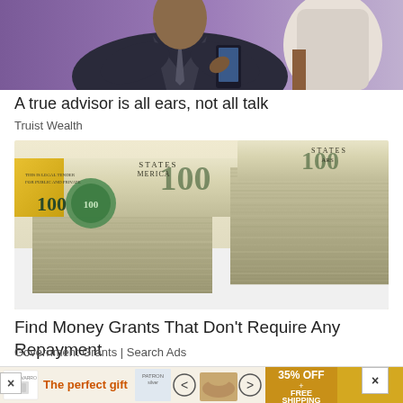[Figure (photo): Person in suit holding phone, seated, purple background — Truist Wealth advertisement image]
A true advisor is all ears, not all talk
Truist Wealth
[Figure (photo): Stacks of US $100 dollar bills close-up — Government Grants advertisement image]
Find Money Grants That Don't Require Any Repayment
Government Grants | Search Ads
[Figure (photo): Bottom advertisement banner showing 'The perfect gift' with glasses, bowl, arrows and 35% OFF + FREE SHIPPING offer]